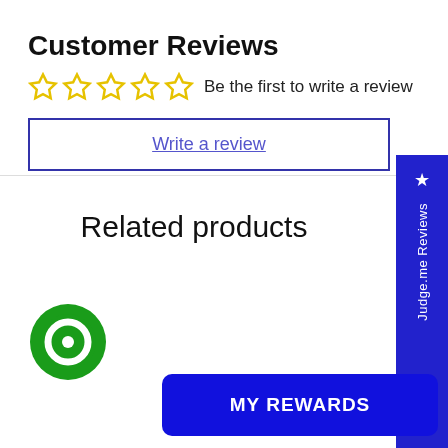Customer Reviews
☆☆☆☆☆  Be the first to write a review
Write a review
Related products
[Figure (other): Blue vertical sidebar badge with star icon and text '★ Judge.me Reviews']
[Figure (other): Green circular chat bubble icon]
MY REWARDS